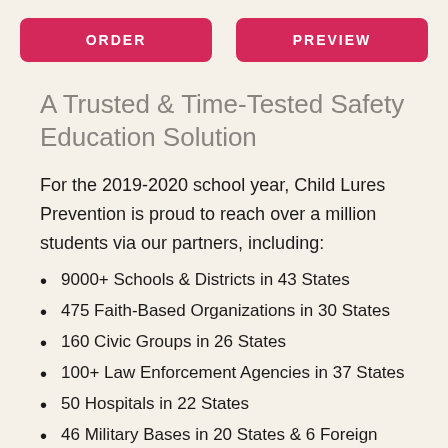[Figure (other): Two pink rounded rectangle buttons labeled ORDER and PREVIEW]
A Trusted & Time-Tested Safety Education Solution
For the 2019-2020 school year, Child Lures Prevention is proud to reach over a million students via our partners, including:
9000+ Schools & Districts in 43 States
475 Faith-Based Organizations in 30 States
160 Civic Groups in 26 States
100+ Law Enforcement Agencies in 37 States
50 Hospitals in 22 States
46 Military Bases in 20 States & 6 Foreign